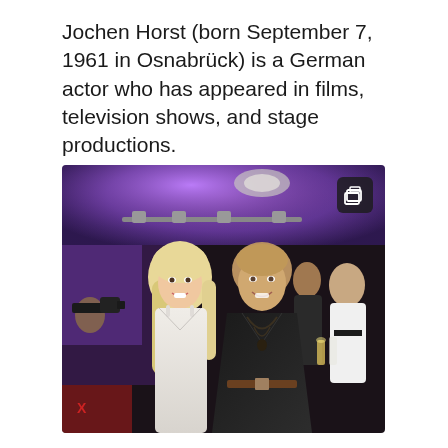Jochen Horst (born September 7, 1961 in Osnabrück) is a German actor who has appeared in films, television shows, and stage productions.
[Figure (photo): Photo of two people at an event — a blonde woman in a white dress and a man in a black shirt with a necklace, standing together in a venue with purple-lit ceiling and other guests in the background.]